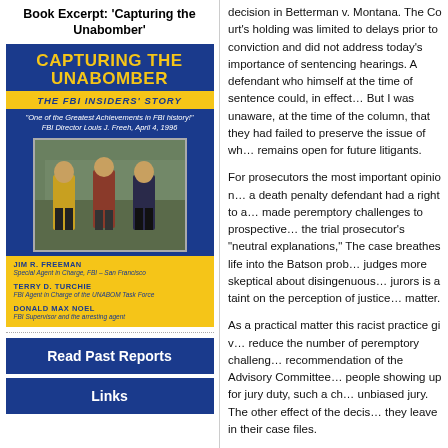Book Excerpt: 'Capturing the Unabomber'
[Figure (photo): Book cover of 'Capturing the Unabomber: The FBI Insiders' Story' with blue and yellow design, featuring a photo of three people and authors Jim R. Freeman, Terry D. Turchie, and Donald Max Noel]
Read Past Reports
Links
decision in Betterman v. Montana. The Court's holding was limited to delays prior to conviction and did not address today's importance of sentencing hearings. A defendant who himself at the time of sentence could, in effect... But I was unaware, at the time of the column, that they had failed to preserve the issue of wh... remains open for future litigants.
For prosecutors the most important opinion... a death penalty defendant had a right to a... made peremptory challenges to prospective... the trial prosecutor's "neutral explanations," The case breathes life into the Batson pro... judges more skeptical about disingenuous... jurors is a taint on the perception of justice... matter.
As a practical matter this racist practice giv... reduce the number of peremptory challeng... recommendation of the Advisory Committee... people showing up for jury duty, such a ch... unbiased jury. The other effect of the decis... they leave in their case files.